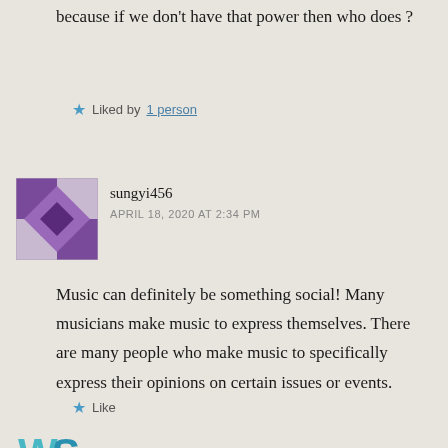because if we don't have that power then who does ?
★ Liked by 1 person
[Figure (illustration): Purple geometric mosaic avatar for user sungyi456]
sungyi456
APRIL 18, 2020 AT 2:34 PM
Music can definitely be something social! Many musicians make music to express themselves. There are many people who make music to specifically express their opinions on certain issues or events.
★ Like
[Figure (logo): Partial teal/blue stylized logo at bottom left]